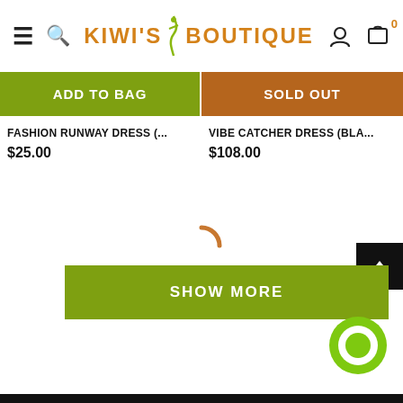[Figure (screenshot): Kiwi's Boutique website header with hamburger menu, search icon, orange logo, user icon, and cart icon with 0 badge]
ADD TO BAG
SOLD OUT
FASHION RUNWAY DRESS (...
$25.00
VIBE CATCHER DRESS (BLA...
$108.00
[Figure (other): Spinning loading arc indicator in orange/brown color]
SHOW MORE